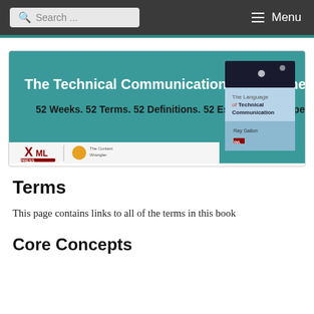Search ... Menu
[Figure (illustration): Banner for 'The Technical Communication Term of the Week' — 52 Weeks. 52 Terms. 52 Definitions. 52 Essays by 52 Experts. Published by XML Press and The Content Wrangler. Shows a book cover: The Language of Technical Communication by Ray Gallon.]
Terms
This page contains links to all of the terms in this book
Core Concepts